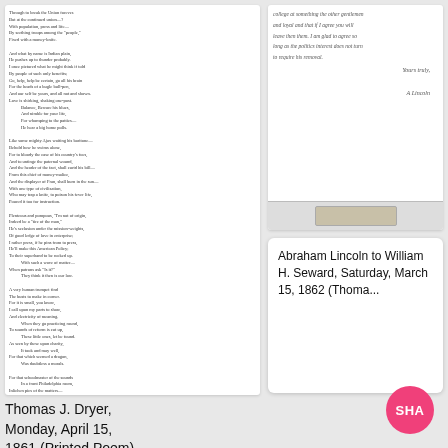[Figure (photo): Scanned document showing a printed poem, left thumbnail card]
[Figure (photo): Scanned handwritten letter from Abraham Lincoln to William H. Seward, right thumbnail card, with cursive handwriting and signature 'A. Lincoln']
Abraham Lincoln to William H. Seward, Saturday, March 15, 1862 (Thoma...
Thomas J. Dryer, Monday, April 15, 1861 (Printed Poem)
[Figure (logo): SHA pink circular badge with white letters SHA]